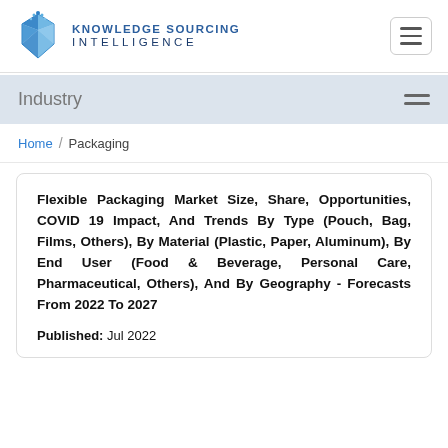[Figure (logo): Knowledge Sourcing Intelligence logo with blue crystal/gem icon and company name]
Industry
Home / Packaging
Flexible Packaging Market Size, Share, Opportunities, COVID 19 Impact, And Trends By Type (Pouch, Bag, Films, Others), By Material (Plastic, Paper, Aluminum), By End User (Food & Beverage, Personal Care, Pharmaceutical, Others), And By Geography - Forecasts From 2022 To 2027
Published:  Jul 2022